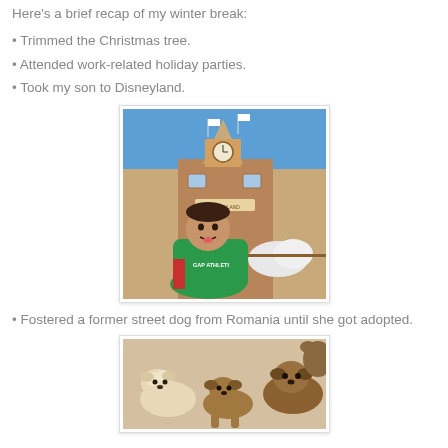Here's a brief recap of my winter break:
Trimmed the Christmas tree.
Attended work-related holiday parties.
Took my son to Disneyland.
[Figure (photo): A child in a green hoodie sweatshirt smiling with tongue out in front of the Disneyland entrance gate with a clock tower and brick building in the background under blue sky.]
Fostered a former street dog from Romania until she got adopted.
[Figure (photo): Three small dogs — a light fluffy dog, a brown/tan dog, and a darker dog — sitting or lying together on a light-colored surface.]